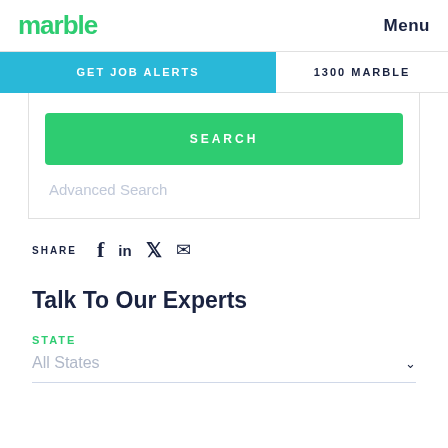marble | Menu
GET JOB ALERTS | 1300 MARBLE
SEARCH
Advanced Search
SHARE
Talk To Our Experts
STATE
All States